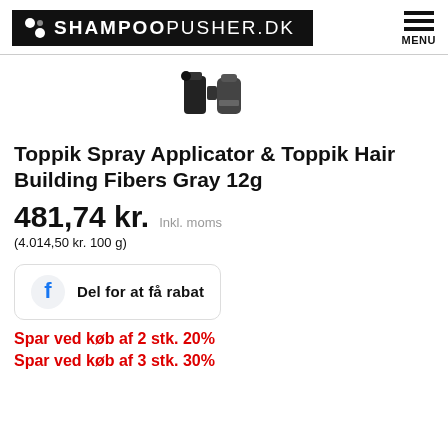SHAMPOOPUSHER.DK  MENU
[Figure (photo): Small product image showing Toppik spray applicator and hair building fibers container]
Toppik Spray Applicator & Toppik Hair Building Fibers Gray 12g
481,74 kr.  Inkl. moms
(4.014,50 kr. 100 g)
[Figure (infographic): Facebook share button box with text 'Del for at få rabat']
Spar ved køb af 2 stk. 20%
Spar ved køb af 3 stk. 30%